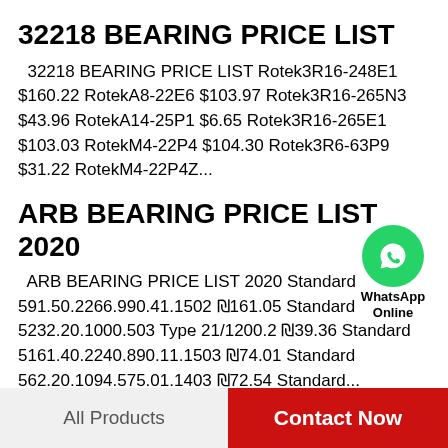32218 BEARING PRICE LIST
32218 BEARING PRICE LIST Rotek3R16-248E1 $160.22 RotekA8-22E6 $103.97 Rotek3R16-265N3 $43.96 RotekA14-25P1 $6.65 Rotek3R16-265E1 $103.03 RotekM4-22P4 $104.30 Rotek3R6-63P9 $31.22 RotekM4-22P4Z...
[Figure (logo): WhatsApp green circle icon with phone handset, labeled WhatsApp Online]
ARB BEARING PRICE LIST 2020
ARB BEARING PRICE LIST 2020 Standard 591.50.2266.990.41.1502 ₪161.05 Standard 5232.20.1000.503 Type 21/1200.2 ₪39.36 Standard 5161.40.2240.890.11.1503 ₪74.01 Standard 562.20.1094.575.01.1403 ₪72.54 Standard...
All Products    Contact Now